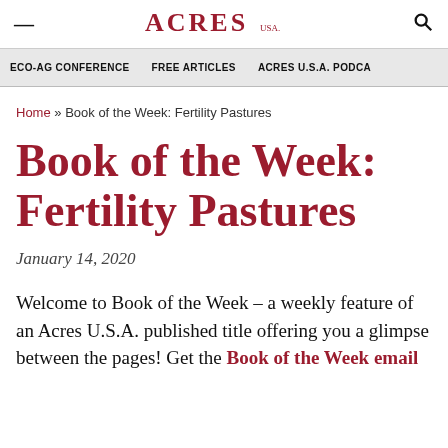ACRES U.S.A.
ECO-AG CONFERENCE   FREE ARTICLES   ACRES U.S.A. PODCA
Home » Book of the Week: Fertility Pastures
Book of the Week: Fertility Pastures
January 14, 2020
Welcome to Book of the Week – a weekly feature of an Acres U.S.A. published title offering you a glimpse between the pages! Get the Book of the Week email